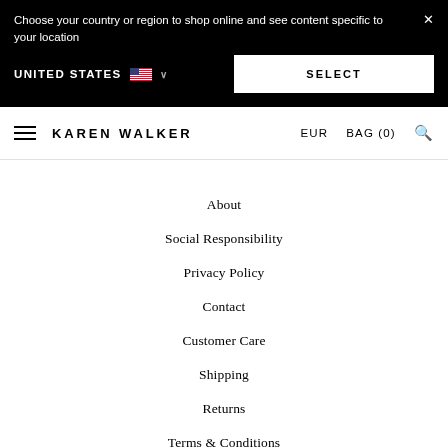Choose your country or region to shop online and see content specific to your location
UNITED STATES  SELECT
KAREN WALKER   EUR   BAG (0)
About
Social Responsibility
Privacy Policy
Contact
Customer Care
Shipping
Returns
Terms & Conditions